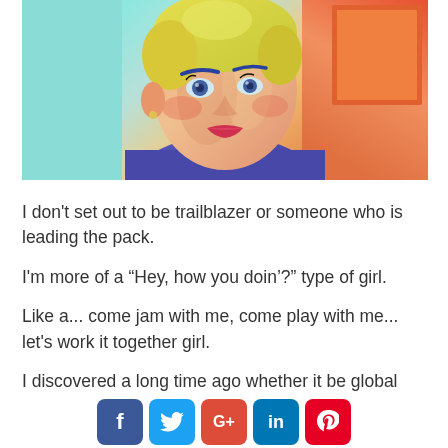[Figure (photo): Artistic/filtered portrait photo of an older woman with short blonde hair, dramatic makeup, colorful background with cyan, orange, red and purple tones]
I don't set out to be trailblazer or someone who is leading the pack.
I'm more of a “Hey, how you doin’?” type of girl.
Like a... come jam with me, come play with me... let's work it together girl.
I discovered a long time ago whether it be global
[Figure (infographic): Social media share buttons: Facebook (f), Twitter (bird), Google+ (G+), LinkedIn (in), Pinterest (P)]